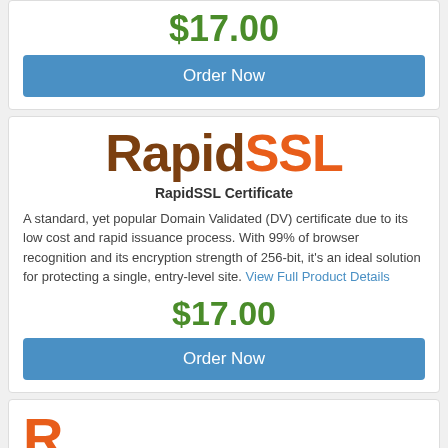$17.00
Order Now
[Figure (logo): RapidSSL logo with 'Rapid' in brown and 'SSL' in orange]
RapidSSL Certificate
A standard, yet popular Domain Validated (DV) certificate due to its low cost and rapid issuance process. With 99% of browser recognition and its encryption strength of 256-bit, it's an ideal solution for protecting a single, entry-level site. View Full Product Details
$17.00
Order Now
[Figure (logo): Partial logo visible at bottom, orange letter R]